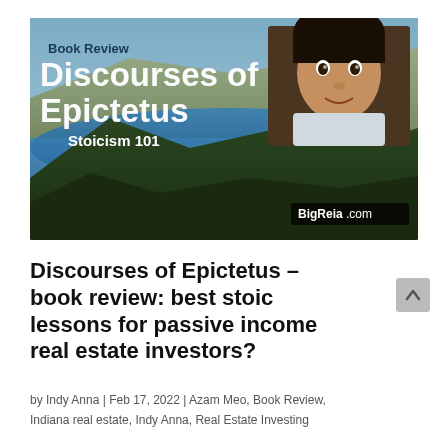[Figure (photo): Book review banner image showing coastal landscape with blue sea, cliffs and trees, overlaid with text 'Book Review Discourses of Epictetus Stoicism 101' and a portrait photo of a man (Azam Meo) in the upper right corner. BigReia.com watermark at bottom right.]
Discourses of Epictetus – book review: best stoic lessons for passive income real estate investors?
by Indy Anna | Feb 17, 2022 | Azam Meo, Book Review, Indiana real estate, Indy Anna, Real Estate Investing